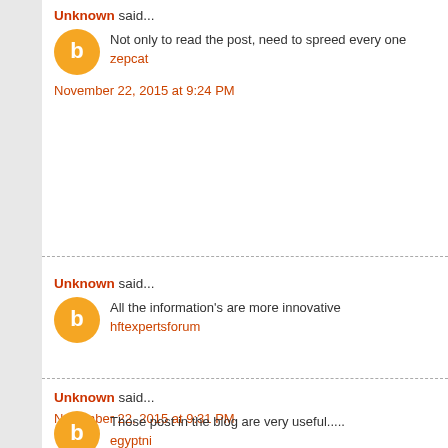Unknown said...
Not only to read the post, need to spreed every one zepcat
November 22, 2015 at 9:24 PM
Unknown said...
All the information's are more innovative hftexpertsforum
November 22, 2015 at 9:31 PM
Unknown said...
Those post in the blog are very useful..... egyptni